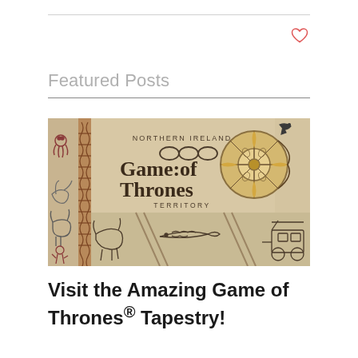Featured Posts
[Figure (photo): Photograph of the Game of Thrones tapestry showing Celtic knotwork border and text reading 'NORTHERN IRELAND Game of Thrones TERRITORY' with a decorative compass rose design on a linen-colored background]
Visit the Amazing Game of Thrones® Tapestry!